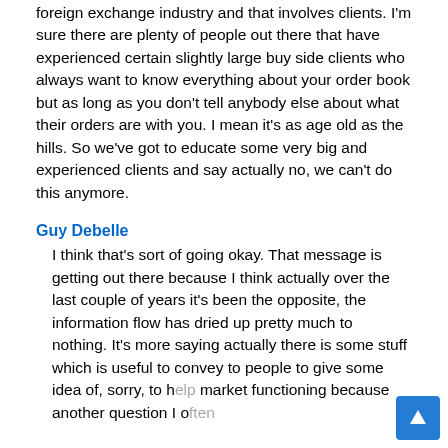foreign exchange industry and that involves clients. I'm sure there are plenty of people out there that have experienced certain slightly large buy side clients who always want to know everything about your order book but as long as you don't tell anybody else about what their orders are with you. I mean it's as age old as the hills. So we've got to educate some very big and experienced clients and say actually no, we can't do this anymore.
Guy Debelle
I think that's sort of going okay. That message is getting out there because I think actually over the last couple of years it's been the opposite, the information flow has dried up pretty much to nothing. It's more saying actually there is some stuff which is useful to convey to people to give some idea of, sorry, to help market functioning because another question I often